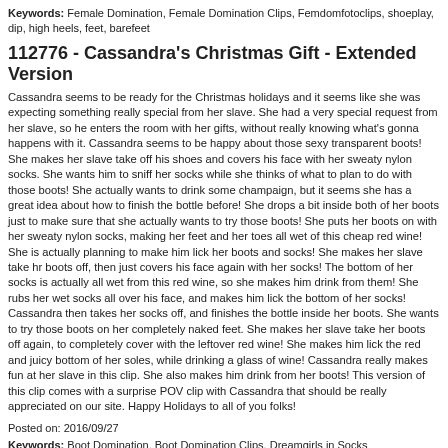Keywords: Female Domination, Female Domination Clips, Femdomfotoclips, shoeplay, dip, high heels, feet, barefeet
112776 - Cassandra's Christmas Gift - Extended Version
Cassandra seems to be ready for the Christmas holidays and it seems like she was expecting something really special from her slave. She had a very special request from her slave, so he enters the room with her gifts, without really knowing what's gonna happens with it. Cassandra seems to be happy about those sexy transparent boots! She makes her slave take off his shoes and covers his face with her sweaty nylon socks. She wants him to sniff her socks while she thinks of what to plan to do with those boots! She actually wants to drink some champaign, but it seems she has a great idea about how to finish the bottle before! She drops a bit inside both of her boots just to make sure that she actually wants to try those boots! She puts her boots on with her sweaty nylon socks, making her feet and her toes all wet of this cheap red wine! She is actually planning to make him lick her boots and socks! She makes her slave take hr boots off, then just covers his face again with her socks! The bottom of her socks is actually all wet from this red wine, so she makes him drink from them! She rubs her wet socks all over his face, and makes him lick the bottom of her socks! Cassandra then takes her socks off, and finishes the bottle inside her boots. She wants to try those boots on her completely naked feet. She makes her slave take her boots off again, to completely cover with the leftover red wine! She makes him lick the red and juicy bottom of her soles, while drinking a glass of wine! Cassandra really makes fun at her slave in this clip. She also makes him drink from her boots! This version of this clip comes with a surprise POV clip with Cassandra that should be really appreciated on our site. Happy Holidays to all of you folks!
Posted on: 2016/09/27
Keywords: Boot Domination, Boot Domination Clips, Dreamgirls in Socks
81382 - Pathetic Ass Sniffer 2
Murderotica ****** her house slave to keep his nose buried in her Ass as she breathes stale air! When she's done with him she leaves to go out while he must remain in her house on his knees! Such cruelty to her house slave! NEVER BEING ALLOWED TO GO OUT BEING ALLOWED TO SNIFF HER ASS DAY AFTER DAY!